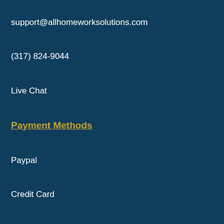support@allhomeworksolutions.com
(317) 824-9044
Live Chat
Payment Methods
Paypal
Credit Card
Cryptocurrency
Wire Transfer